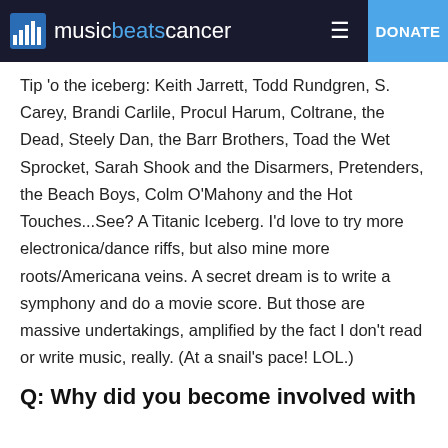music beats cancer | DONATE
Tip 'o the iceberg: Keith Jarrett, Todd Rundgren, S. Carey, Brandi Carlile, Procul Harum, Coltrane, the Dead, Steely Dan, the Barr Brothers, Toad the Wet Sprocket, Sarah Shook and the Disarmers, Pretenders, the Beach Boys, Colm O'Mahony and the Hot Touches...See? A Titanic Iceberg. I'd love to try more electronica/dance riffs, but also mine more roots/Americana veins. A secret dream is to write a symphony and do a movie score. But those are massive undertakings, amplified by the fact I don't read or write music, really. (At a snail's pace! LOL.)
Q: Why did you become involved with